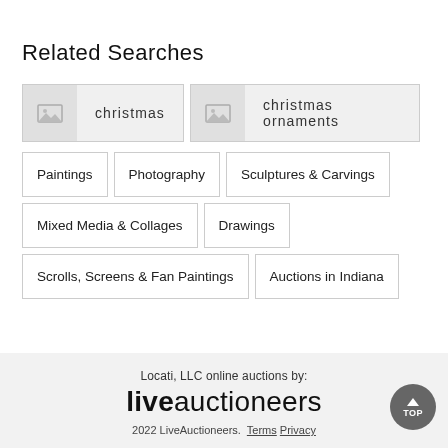Related Searches
christmas
christmas ornaments
Paintings
Photography
Sculptures & Carvings
Mixed Media & Collages
Drawings
Scrolls, Screens & Fan Paintings
Auctions in Indiana
Locati, LLC online auctions by: liveauctioneers 2022 LiveAuctioneers. Terms Privacy